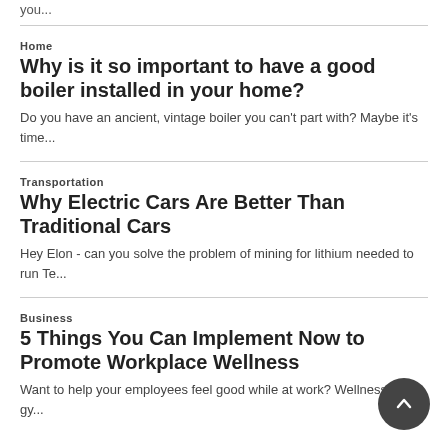you...
Home
Why is it so important to have a good boiler installed in your home?
Do you have an ancient, vintage boiler you can't part with? Maybe it's time...
Transportation
Why Electric Cars Are Better Than Traditional Cars
Hey Elon - can you solve the problem of mining for lithium needed to run Te...
Business
5 Things You Can Implement Now to Promote Workplace Wellness
Want to help your employees feel good while at work? Wellness new gy...